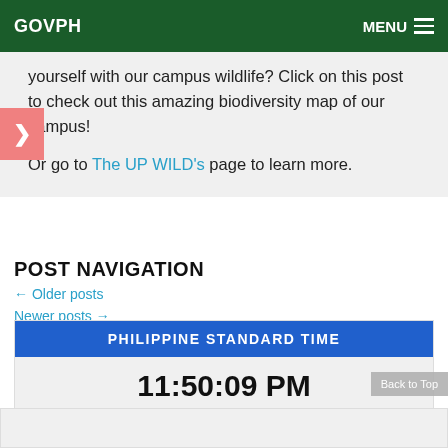GOVPH   MENU
yourself with our campus wildlife? Click on this post to check out this amazing biodiversity map of our campus!
Or go to The UP WILD's page to learn more.
POST NAVIGATION
← Older posts
Newer posts →
[Figure (other): Philippine Standard Time widget showing 11:50:09 PM, 21 August 2022 Sunday]
Back to Top